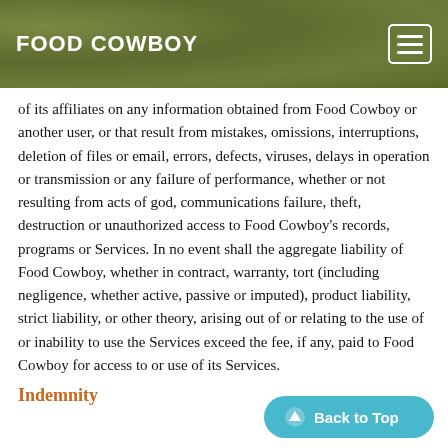FOOD COWBOY
of its affiliates on any information obtained from Food Cowboy or another user, or that result from mistakes, omissions, interruptions, deletion of files or email, errors, defects, viruses, delays in operation or transmission or any failure of performance, whether or not resulting from acts of god, communications failure, theft, destruction or unauthorized access to Food Cowboy's records, programs or Services. In no event shall the aggregate liability of Food Cowboy, whether in contract, warranty, tort (including negligence, whether active, passive or imputed), product liability, strict liability, or other theory, arising out of or relating to the use of or inability to use the Services exceed the fee, if any, paid to Food Cowboy for access to or use of its Services.
Indemnity